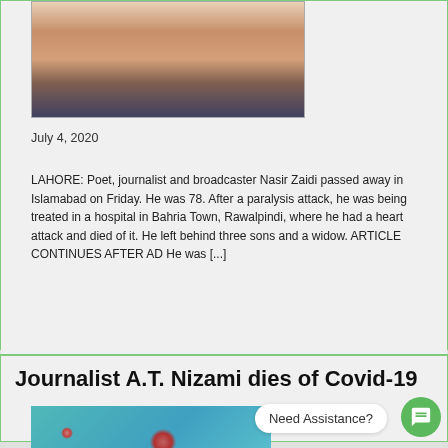[Figure (photo): Portrait photo of an elderly man, partially visible, top portion of face]
July 4, 2020
LAHORE: Poet, journalist and broadcaster Nasir Zaidi passed away in Islamabad on Friday. He was 78. After a paralysis attack, he was being treated in a hospital in Bahria Town, Rawalpindi, where he had a heart attack and died of it. He left behind three sons and a widow. ARTICLE CONTINUES AFTER AD He was [...]
Journalist A.T. Nizami dies of Covid-19
[Figure (photo): Illustration of coronavirus/Covid-19 virus particles on teal background]
Need Assistance?